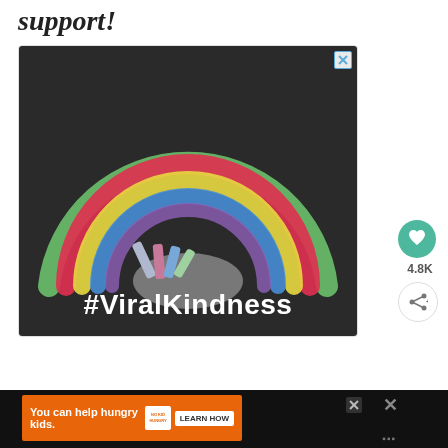support!
[Figure (photo): Chalk rainbow drawn on asphalt pavement with chalk sticks in the center, overlaid with white bold text '#ViralKindness']
[Figure (other): Heart icon button (green circle with white heart) with like count 4.8K and share button below]
[Figure (other): Bottom advertisement banner: orange background with text 'You can help hungry kids.' and No Kid Hungry logo and 'LEARN HOW' button]